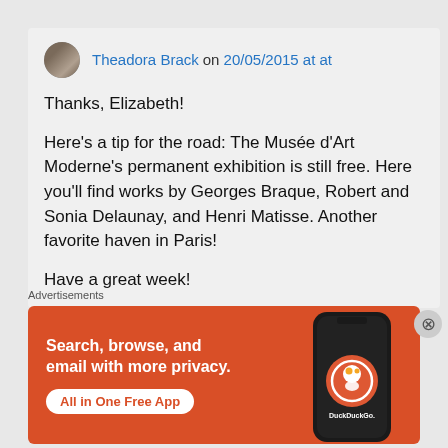Theadora Brack on 20/05/2015 at at
Thanks, Elizabeth!
Here’s a tip for the road: The Musée d’Art Moderne’s permanent exhibition is still free. Here you’ll find works by Georges Braque, Robert and Sonia Delaunay, and Henri Matisse. Another favorite haven in Paris!
Have a great week!
Advertisements
[Figure (infographic): DuckDuckGo advertisement banner with orange background. Left side text: 'Search, browse, and email with more privacy. All in One Free App' with a white button. Right side shows a smartphone with DuckDuckGo logo and branding.]